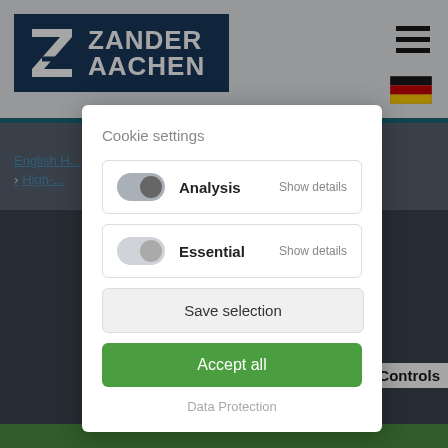[Figure (screenshot): Zander Aachen website header with logo, hamburger menu icon, and German flag icon]
English H... > High-... ...ons
[Figure (screenshot): Background image of industrial controls/machinery with green bar at bottom]
Cookie settings
Analysis   Show details
Essential   Show details
Save selection
Accept all
Data Protection